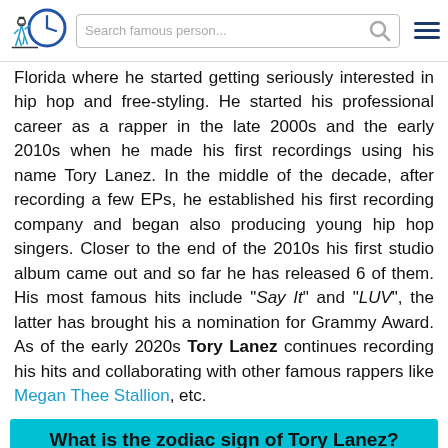Search famous person...
Florida where he started getting seriously interested in hip hop and free-styling. He started his professional career as a rapper in the late 2000s and the early 2010s when he made his first recordings using his name Tory Lanez. In the middle of the decade, after recording a few EPs, he established his first recording company and began also producing young hip hop singers. Closer to the end of the 2010s his first studio album came out and so far he has released 6 of them. His most famous hits include "Say It" and "LUV", the latter has brought his a nomination for Grammy Award. As of the early 2020s Tory Lanez continues recording his hits and collaborating with other famous rappers like Megan Thee Stallion, etc.
What is the zodiac sign of Tory Lanez?
Zodiac sign of Tory Lanez is Leo